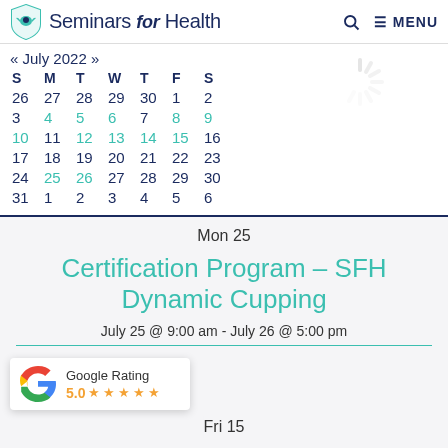Seminars FOR Health
[Figure (other): Calendar for July 2022 showing weeks with some dates highlighted in teal indicating events]
Mon 25
Certification Program – SFH Dynamic Cupping
July 25 @ 9:00 am - July 26 @ 5:00 pm
[Figure (other): Google Rating widget showing 5.0 stars]
Fri 15